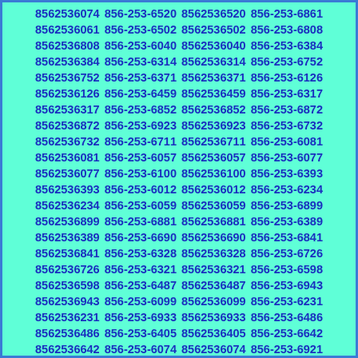8562536074 856-253-6520 8562536520 856-253-6861 8562536061 856-253-6502 8562536502 856-253-6808 8562536808 856-253-6040 8562536040 856-253-6384 8562536384 856-253-6314 8562536314 856-253-6752 8562536752 856-253-6371 8562536371 856-253-6126 8562536126 856-253-6459 8562536459 856-253-6317 8562536317 856-253-6852 8562536852 856-253-6872 8562536872 856-253-6923 8562536923 856-253-6732 8562536732 856-253-6711 8562536711 856-253-6081 8562536081 856-253-6057 8562536057 856-253-6077 8562536077 856-253-6100 8562536100 856-253-6393 8562536393 856-253-6012 8562536012 856-253-6234 8562536234 856-253-6059 8562536059 856-253-6899 8562536899 856-253-6881 8562536881 856-253-6389 8562536389 856-253-6690 8562536690 856-253-6841 8562536841 856-253-6328 8562536328 856-253-6726 8562536726 856-253-6321 8562536321 856-253-6598 8562536598 856-253-6487 8562536487 856-253-6943 8562536943 856-253-6099 8562536099 856-253-6231 8562536231 856-253-6933 8562536933 856-253-6486 8562536486 856-253-6405 8562536405 856-253-6642 8562536642 856-253-6074 8562536074 856-253-6921 8562536921 856-253-6865 8562536865 856-253-6700 8562536700 856-253-6961 8562536961 856-253-6379 8562536379 856-253-6731 8562536731 856-253-6181 8562536181 856-253-6114 8562536114 856-253-6311 8562536311 856-253-6966 8562536966 856-253-6429